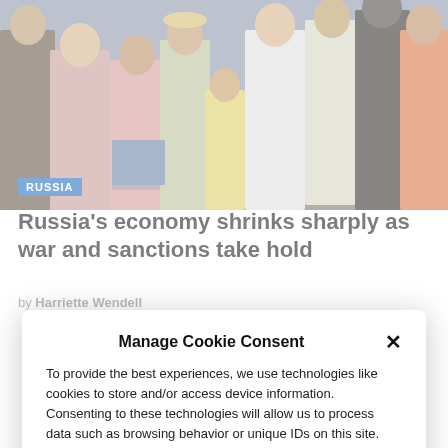[Figure (photo): A crowd of people on a street in summer, photographed from behind and sides, with people in casual clothing including shorts and tank tops.]
RUSSIA
Russia's economy shrinks sharply as war and sanctions take hold
by Harriette Wendell
Manage Cookie Consent
To provide the best experiences, we use technologies like cookies to store and/or access device information. Consenting to these technologies will allow us to process data such as browsing behavior or unique IDs on this site. Not consenting or withdrawing consent, may adversely affect certain features and functions.
ACCEPT
Cookie Policy   Privacy Statement   Imprint